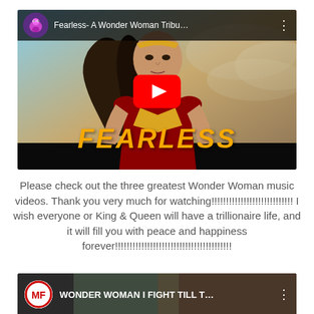[Figure (screenshot): YouTube video thumbnail for 'Fearless- A Wonder Woman Tribu...' showing Wonder Woman character with the word FEARLESS in orange text, with a red YouTube play button overlay]
Please check out the three greatest Wonder Woman music videos.  Thank you very much for watching!!!!!!!!!!!!!!!!!!!!!!!!!!!!  I wish everyone or King & Queen will have a trillionaire life, and it will fill you with peace and happiness forever!!!!!!!!!!!!!!!!!!!!!!!!!!!!!!!!!!!!!!!!
[Figure (screenshot): YouTube video thumbnail for 'WONDER WOMAN I FIGHT TILL T...' showing a channel icon with MF letters]